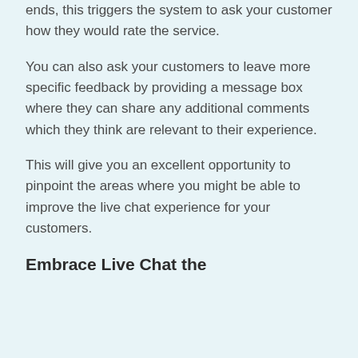ends, this triggers the system to ask your customer how they would rate the service.
You can also ask your customers to leave more specific feedback by providing a message box where they can share any additional comments which they think are relevant to their experience.
This will give you an excellent opportunity to pinpoint the areas where you might be able to improve the live chat experience for your customers.
Embrace Live Chat the